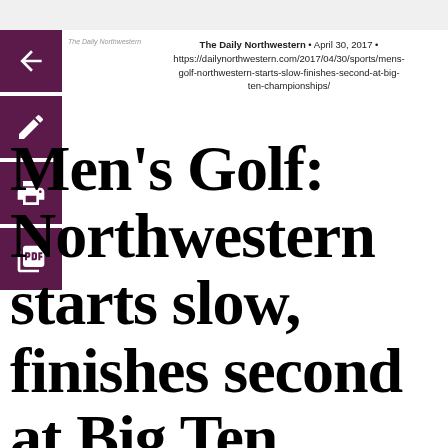The Daily Northwestern • April 30, 2017 • https://dailynorthwestern.com/2017/04/30/sports/mens-golf-northwestern-starts-slow-finishes-second-at-big-ten-championships/
Men's Golf: Northwestern starts slow, finishes second at Big Ten Championships